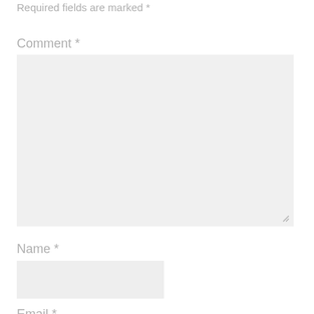Required fields are marked *
Comment *
[Figure (other): Large comment textarea input box with resize handle in bottom-right corner]
Name *
[Figure (other): Name text input box]
Email *